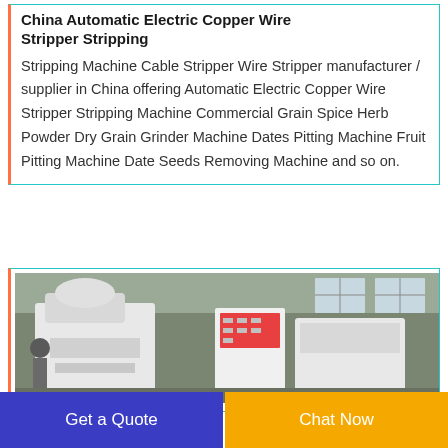China Automatic Electric Copper Wire Stripper Stripping
Stripping Machine Cable Stripper Wire Stripper manufacturer / supplier in China offering Automatic Electric Copper Wire Stripper Stripping Machine Commercial Grain Spice Herb Powder Dry Grain Grinder Machine Dates Pitting Machine Fruit Pitting Machine Date Seeds Removing Machine and so on.
[Figure (photo): Photo of industrial copper wire stripping machines in a factory setting. Several white machines with control panels are visible. Workers and factory windows can be seen in the background.]
Get a Quote
Chat Now